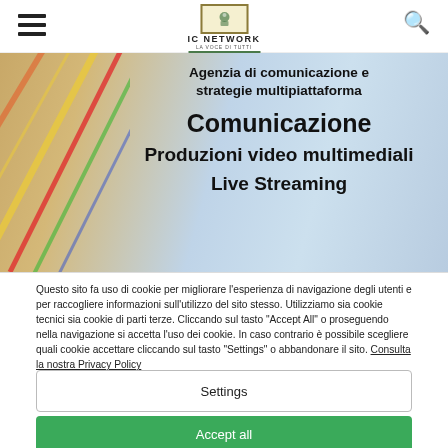IC NETWORK – LA VOCE DI TUTTI
[Figure (screenshot): Banner image with colorful diagonal lines on left side, light blue gradient background, text overlay: 'Agenzia di comunicazione e strategie multipiattaforma', 'Comunicazione', 'Produzioni video multimediali', 'Live Streaming']
Questo sito fa uso di cookie per migliorare l'esperienza di navigazione degli utenti e per raccogliere informazioni sull'utilizzo del sito stesso. Utilizziamo sia cookie tecnici sia cookie di parti terze. Cliccando sul tasto "Accept All" o proseguendo nella navigazione si accetta l'uso dei cookie. In caso contrario è possibile scegliere quali cookie accettare cliccando sul tasto "Settings" o abbandonare il sito. Consulta la nostra Privacy Policy
Settings
Accept all